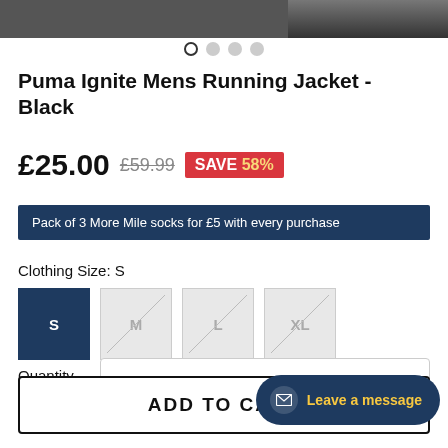[Figure (photo): Partial product image of Puma Ignite Mens Running Jacket in Black]
Puma Ignite Mens Running Jacket - Black
£25.00  £59.99  SAVE 58%
Pack of 3 More Mile socks for £5 with every purchase
Clothing Size: S
Size options: S (selected), M (unavailable), L (unavailable), XL (unavailable)
Quantity  –
Leave a message
ADD TO CART